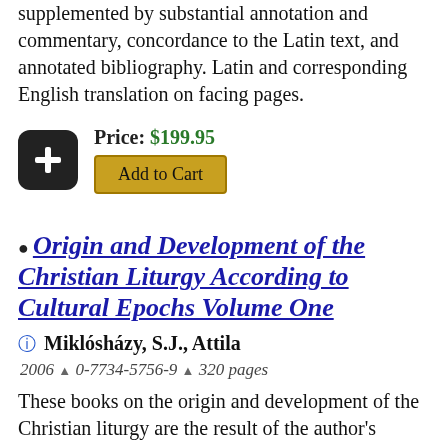supplemented by substantial annotation and commentary, concordance to the Latin text, and annotated bibliography. Latin and corresponding English translation on facing pages.
Price: $199.95
Add to Cart
Origin and Development of the Christian Liturgy According to Cultural Epochs Volume One
Miklósházy, S.J., Attila
2006 ▲ 0-7734-5756-9 ▲ 320 pages
These books on the origin and development of the Christian liturgy are the result of the author's teaching the subject to university students. It is not an original work, but rather a collection, compendium and